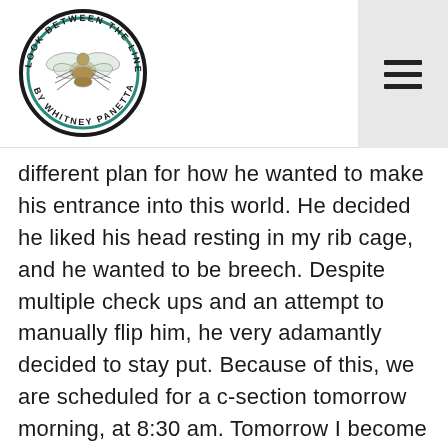[Figure (logo): Circular logo reading 'LOOK BETWEEN THE LINES BY WHITNEY PANETTA' around the border, with an illustration of a fly in the center. Black outer ring with teal/green inner ring.]
different plan for how he wanted to make his entrance into this world. He decided he liked his head resting in my rib cage, and he wanted to be breech. Despite multiple check ups and an attempt to manually flip him, he very adamantly decided to stay put. Because of this, we are scheduled for a c-section tomorrow morning, at 8:30 am. Tomorrow I become a mother and my life changes for ever, for what I know will be the best.